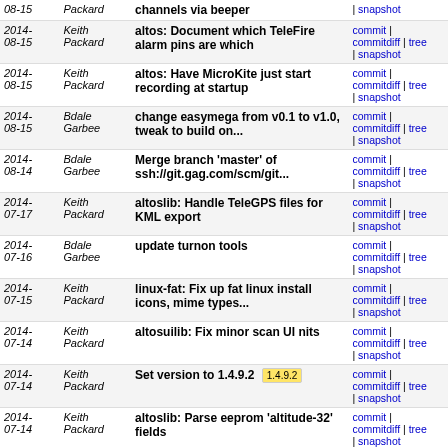| Date | Author | Message | Links |
| --- | --- | --- | --- |
| 2014-08-15 | Keith Packard | channels via beeper | commit | commitdiff | tree | snapshot |
| 2014-08-15 | Keith Packard | altos: Document which TeleFire alarm pins are which | commit | commitdiff | tree | snapshot |
| 2014-08-15 | Keith Packard | altos: Have MicroKite just start recording at startup | commit | commitdiff | tree | snapshot |
| 2014-08-15 | Bdale Garbee | change easymega from v0.1 to v1.0, tweak to build on... | commit | commitdiff | tree | snapshot |
| 2014-08-14 | Bdale Garbee | Merge branch 'master' of ssh://git.gag.com/scm/git... | commit | commitdiff | tree | snapshot |
| 2014-07-17 | Keith Packard | altoslib: Handle TeleGPS files for KML export | commit | commitdiff | tree | snapshot |
| 2014-07-16 | Bdale Garbee | update turnon tools | commit | commitdiff | tree | snapshot |
| 2014-07-15 | Keith Packard | linux-fat: Fix up fat linux install icons, mime types... | commit | commitdiff | tree | snapshot |
| 2014-07-14 | Keith Packard | altosuilib: Fix minor scan UI nits | commit | commitdiff | tree | snapshot |
| 2014-07-14 | Keith Packard | Set version to 1.4.9.2 [1.4.9.2] | commit | commitdiff | tree | snapshot |
| 2014-07-14 | Keith Packard | altoslib: Parse eeprom 'altitude-32' fields | commit | commitdiff | tree | snapshot |
| 2014-07-14 | Keith Packard | altos/test: Build TeleMetrumV2 flight test variant | commit | commitdiff | tree | snapshot |
| 2014-07-14 | Keith Packard | altos: Make ao_gps_print deal with telem containing... | commit | commitdiff | tree | snapshot |
| 2014-07-14 | Keith Packard | altos: Interrupt radio receive when changing data rate | commit | commitdiff | tree | snapshot |